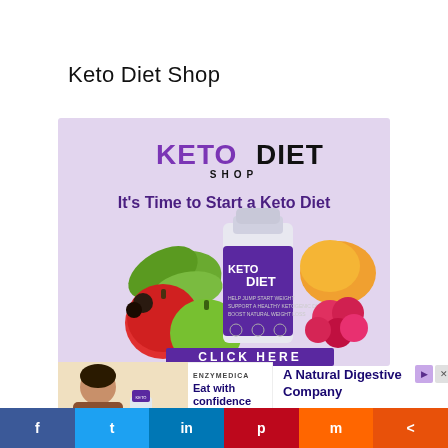Keto Diet Shop
[Figure (illustration): Keto Diet Shop banner advertisement showing 'KETO DIET SHOP' logo, tagline 'It's Time to Start a Keto Diet', a supplement bottle labeled 'KETO DIET' surrounded by fruits (apples, raspberries, mango, green leaves), and a 'CLICK HERE' call-to-action button at the bottom, on a lavender background.]
[Figure (illustration): Enzymedica advertisement showing a person eating with text 'ENZYMEDICA', 'Eat with confidence', and a 'SHOP NOW' button.]
A Natural Digestive Company
f  t  in  p  m  <